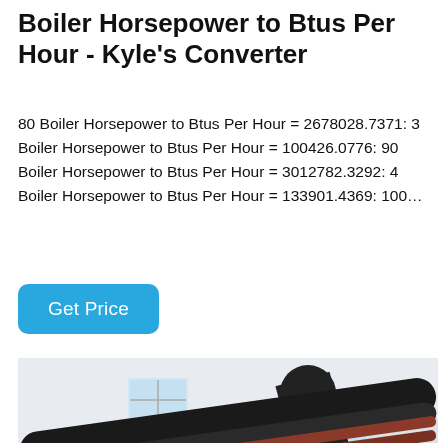Boiler Horsepower to Btus Per Hour - Kyle's Converter
80 Boiler Horsepower to Btus Per Hour = 2678028.7371: 3 Boiler Horsepower to Btus Per Hour = 100426.0776: 90 Boiler Horsepower to Btus Per Hour = 3012782.3292: 4 Boiler Horsepower to Btus Per Hour = 133901.4369: 100...
[Figure (photo): Interior of an industrial boiler room showing a large cylindrical blue boiler, black and brown pipes running along the ceiling, yellow structural supports, metal ladders, and white walls with windows.]